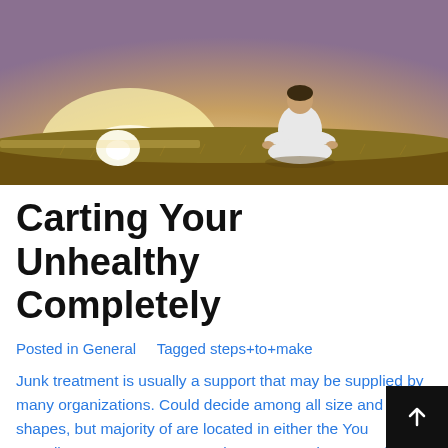[Figure (photo): Person sitting in lotus meditation pose on a hill at sunset, viewed from behind, with warm golden light on the horizon.]
Carting Your Unhealthy Completely
Posted in General      Tagged steps+to+make
Junk treatment is usually a support that may be supplied by many organizations. Could decide among all size and shapes, but majority of are located in either the You actually.S. or European countries. You can do away with your very own waste or have a